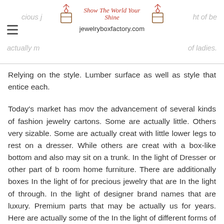Show The World Your Shine jewelryboxfactory.com
Relying on the style. Lumber surface as well as style that entice each.
Today's market has mov the advancement of several kinds of fashion jewelry cartons. Some are actually little. Others very sizable. Some are actually creat with little lower legs to rest on a dresser. While others are creat with a box-like bottom and also may sit on a trunk. In the light of Dresser or other part of b room home furniture. There are additionally boxes In the light of for precious jewelry that are In the light of through. In the light of designer brand names that are luxury. Premium parts that may be actually us for years. Here are actually some of the In the light of different forms of fashion jewelry packages on call today.
It resid in throughout the commercial revolution that mass